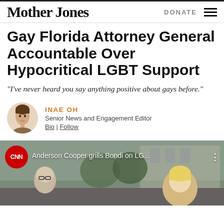Mother Jones | DONATE
Gay Florida Attorney General Accountable Over Hypocritical LGBT Support
“I’ve never heard you say anything positive about gays before.”
INAE OH
Senior News and Engagement Editor
Bio | Follow
[Figure (screenshot): CNN video thumbnail showing Anderson Cooper grilling Bondi on LG..., with two figures visible in the frame and a CNN logo badge in the top-left corner]